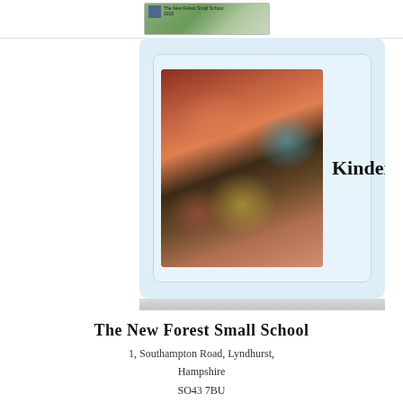[Figure (screenshot): Partial view of a school website showing a card with children photo labeled Kindergarten, plus a top thumbnail of a school banner and a partial third card below]
The New Forest Small School
1, Southampton Road, Lyndhurst,
Hampshire
SO43 7BU
023 8028 4415
nfss@newforestsmallschool.com
©2018 by The New Forest Small School